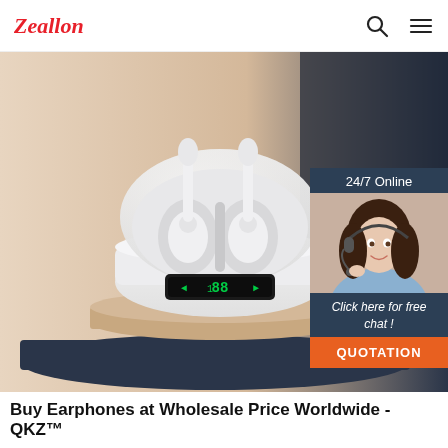Zeallon
[Figure (photo): White TWS wireless earbuds in an open charging case with a digital LED display showing battery level, placed on a beige and dark blue pedestal background. Overlay shows a customer service widget with '24/7 Online', a female agent with headset, 'Click here for free chat!' text, and an orange QUOTATION button.]
Buy Earphones at Wholesale Price Worldwide - QKZ™
Guaranteed all products are genuine: this one is a given, you can bet that by buying our QKZ and KZ products through our official website you won't get any imitations or counterfeits. You will get